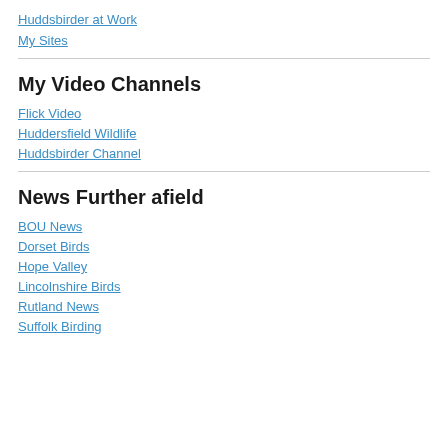Huddsbirder at Work
My Sites
My Video Channels
Flick Video
Huddersfield Wildlife
Huddsbirder Channel
News Further afield
BOU News
Dorset Birds
Hope Valley
Lincolnshire Birds
Rutland News
Suffolk Birding